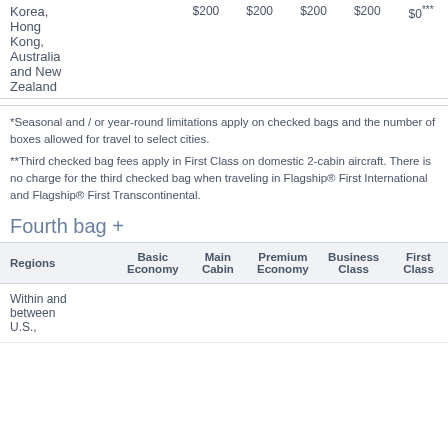| Regions | Basic Economy | Main Cabin | Premium Economy | Business Class | First Class |
| --- | --- | --- | --- | --- | --- |
| Korea, Hong Kong, Australia and New Zealand | $200 | $200 | $200 | $200 | $0*** |
*Seasonal and / or year-round limitations apply on checked bags and the number of boxes allowed for travel to select cities.
**Third checked bag fees apply in First Class on domestic 2-cabin aircraft. There is no charge for the third checked bag when traveling in Flagship® First International and Flagship® First Transcontinental.
Fourth bag +
| Regions | Basic Economy | Main Cabin | Premium Economy | Business Class | First Class |
| --- | --- | --- | --- | --- | --- |
| Within and between U.S., |  |  |  |  |  |